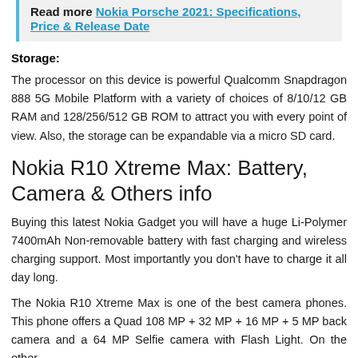Read more Nokia Porsche 2021: Specifications, Price & Release Date
Storage:
The processor on this device is powerful Qualcomm Snapdragon 888 5G Mobile Platform with a variety of choices of 8/10/12 GB RAM and 128/256/512 GB ROM to attract you with every point of view. Also, the storage can be expandable via a micro SD card.
Nokia R10 Xtreme Max: Battery, Camera & Others info
Buying this latest Nokia Gadget you will have a huge Li-Polymer 7400mAh Non-removable battery with fast charging and wireless charging support. Most importantly you don't have to charge it all day long.
The Nokia R10 Xtreme Max is one of the best camera phones. This phone offers a Quad 108 MP + 32 MP + 16 MP + 5 MP back camera and a 64 MP Selfie camera with Flash Light. On the other